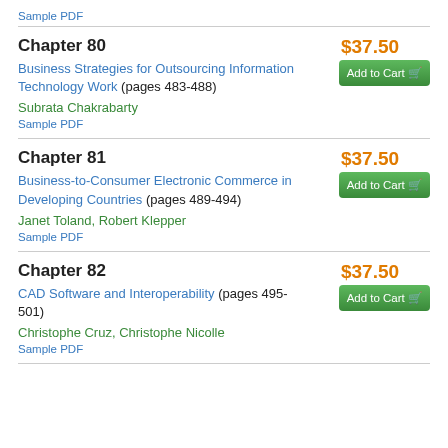Sample PDF
Chapter 80
$37.50
Add to Cart
Business Strategies for Outsourcing Information Technology Work (pages 483-488)
Subrata Chakrabarty
Sample PDF
Chapter 81
$37.50
Add to Cart
Business-to-Consumer Electronic Commerce in Developing Countries (pages 489-494)
Janet Toland, Robert Klepper
Sample PDF
Chapter 82
$37.50
Add to Cart
CAD Software and Interoperability (pages 495-501)
Christophe Cruz, Christophe Nicolle
Sample PDF